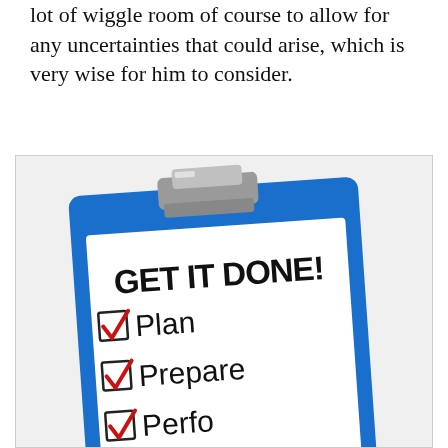lot of wiggle room of course to allow for any uncertainties that could arise, which is very wise for him to consider.
[Figure (illustration): A blue clipboard with a metal clip at the top. On the clipboard paper is written 'GET IT DONE!' in large bold black text, followed by three checked checkboxes (red checkmarks in square boxes) with the labels 'Plan', 'Prepare', and 'Perfo...' (Perform, partially visible). The clipboard is shown at a slight angle.]